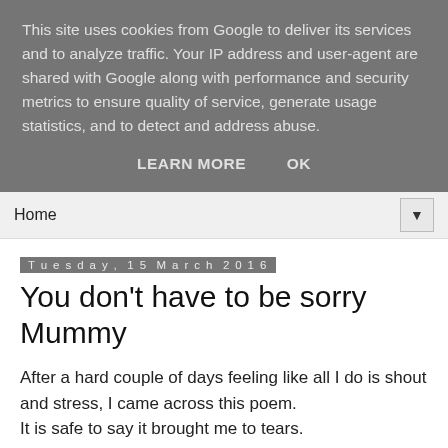This site uses cookies from Google to deliver its services and to analyze traffic. Your IP address and user-agent are shared with Google along with performance and security metrics to ensure quality of service, generate usage statistics, and to detect and address abuse.
LEARN MORE    OK
Home ▼
Tuesday, 15 March 2016
You don't have to be sorry Mummy
After a hard couple of days feeling like all I do is shout and stress, I came across this poem.
It is safe to say it brought me to tears.
Dear Mommy,
You don't have to be sorry.
The other day, I heard you crying in the bathroom. That was